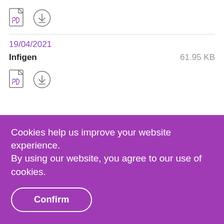[Figure (other): PDF file icon and download icon buttons]
19/04/2021
Infigen    61.95 KB
[Figure (other): PDF file icon and download icon buttons (second row)]
Cookies help us improve your website experience.
By using our website, you agree to our use of cookies.
Confirm